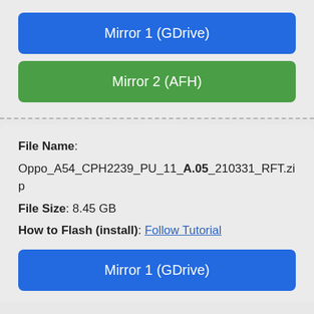Mirror 1 (GDrive)
Mirror 2 (AFH)
File Name: Oppo_A54_CPH2239_PU_11_A.05_210331_RFT.zip
File Size: 8.45 GB
How to Flash (install): Follow Tutorial
Mirror 1 (GDrive)